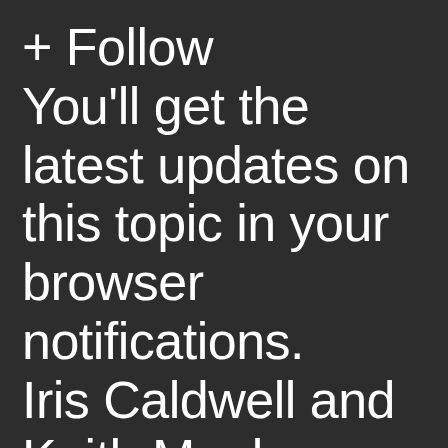+ Follow You'll get the latest updates on this topic in your browser notifications. Iris Caldwell and Keith Manley seem